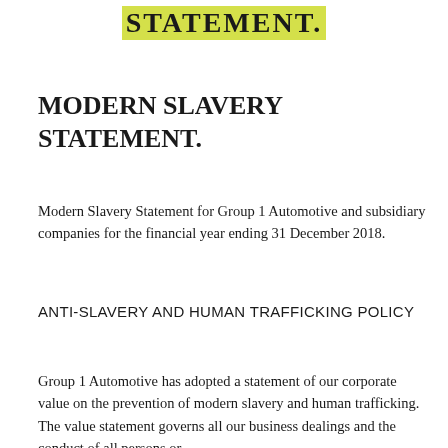STATEMENT.
MODERN SLAVERY STATEMENT.
Modern Slavery Statement for Group 1 Automotive and subsidiary companies for the financial year ending 31 December 2018.
ANTI-SLAVERY AND HUMAN TRAFFICKING POLICY
Group 1 Automotive has adopted a statement of our corporate value on the prevention of modern slavery and human trafficking. The value statement governs all our business dealings and the conduct of all persons or